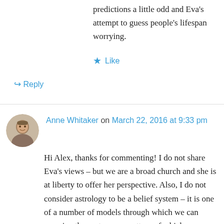predictions a little odd and Eva's attempt to guess people's lifespan worrying.
★ Like
↪ Reply
Anne Whitaker on March 22, 2016 at 9:33 pm
Hi Alex, thanks for commenting! I do not share Eva's views – but we are a broad church and she is at liberty to offer her perspective. Also, I do not consider astrology to be a belief system – it is one of a number of models through which we can examine the vast energy pattern of which we are all part, and attempt to make some sense of why we are here and what we should do whilst we are. Also – along with many other